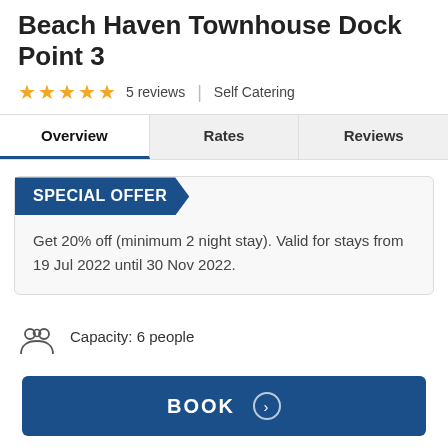Beach Haven Townhouse Dock Point 3
★★★★★ 5 reviews | Self Catering
Overview | Rates | Reviews (tabs)
SPECIAL OFFER
Get 20% off (minimum 2 night stay). Valid for stays from 19 Jul 2022 until 30 Nov 2022.
Capacity: 6 people
Check-in: 15:00 to 19:00
Check-out: 10:00
BOOK